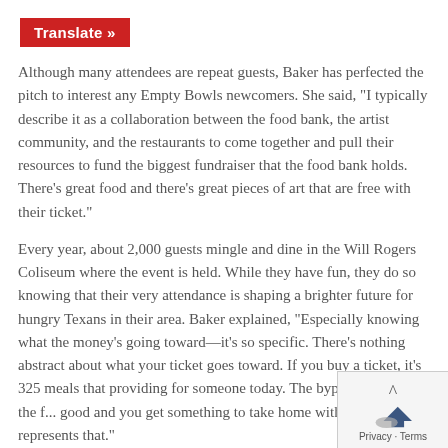Translate »
Although many attendees are repeat guests, Baker has perfected the pitch to interest any Empty Bowls newcomers. She said, “I typically describe it as a collaboration between the food bank, the artist community, and the restaurants to come together and pull their resources to fund the biggest fundraiser that the food bank holds. There’s great food and there’s great pieces of art that are free with their ticket.”
Every year, about 2,000 guests mingle and dine in the Will Rogers Coliseum where the event is held. While they have fun, they do so knowing that their very attendance is shaping a brighter future for hungry Texans in their area. Baker explained, “Especially knowing what the money’s going toward—it’s so specific. There’s nothing abstract about what your ticket goes toward. If you buy a ticket, it’s 325 meals that providing for someone today. The byproduct is that the f... good and you get something to take home with you that represents that.”